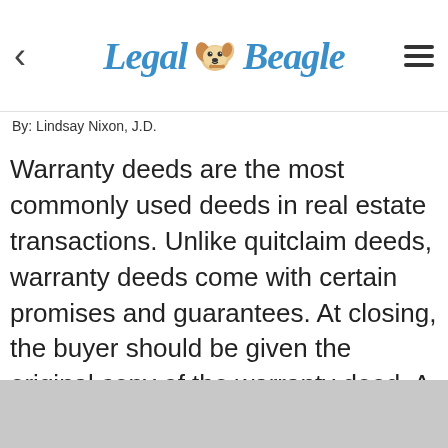Legal Beagle
By: Lindsay Nixon, J.D.
Warranty deeds are the most commonly used deeds in real estate transactions. Unlike quitclaim deeds, warranty deeds come with certain promises and guarantees. At closing, the buyer should be given the original copy of the warranty deed. A copy of the deed is also filed with the county recorder's office.